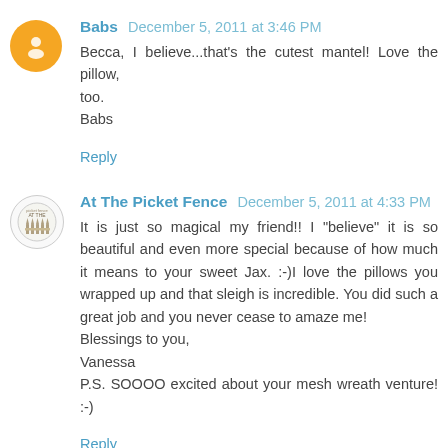Babs December 5, 2011 at 3:46 PM
Becca, I believe...that's the cutest mantel! Love the pillow, too.
Babs
Reply
At The Picket Fence December 5, 2011 at 4:33 PM
It is just so magical my friend!! I "believe" it is so beautiful and even more special because of how much it means to your sweet Jax. :-)I love the pillows you wrapped up and that sleigh is incredible. You did such a great job and you never cease to amaze me!
Blessings to you,
Vanessa
P.S. SOOOO excited about your mesh wreath venture! :-)
Reply
Calypso In The Country December 5, 2011 at 4:48 PM